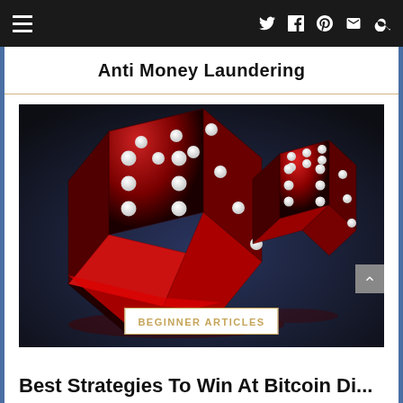Anti Money Laundering
[Figure (photo): Two red translucent dice with white dots floating against a dark blue background, one large die in the foreground and one smaller die in the background]
BEGINNER ARTICLES
Best Strategies To Win At Bitcoin Di...